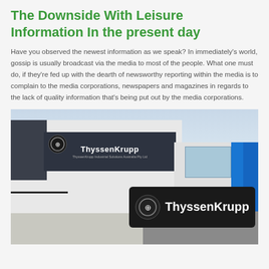The Downside With Leisure Information In the present day
Have you observed the newest information as we speak? In immediately's world, gossip is usually broadcast via the media to most of the people. What one must do, if they're fed up with the dearth of newsworthy reporting within the media is to complain to the media corporations, newspapers and magazines in regards to the lack of quality information that's being put out by the media corporations.
[Figure (photo): Exterior photo of a ThyssenKrupp industrial building with dark signage displaying the ThyssenKrupp logo and name, a modern office annex with blue accents, parking lot in foreground, and a ground-level ThyssenKrupp sign in the bottom right.]